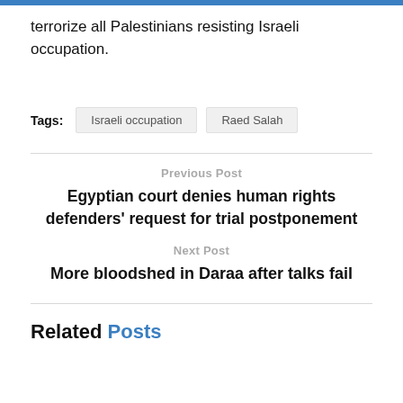terrorize all Palestinians resisting Israeli occupation.
Tags: Israeli occupation  Raed Salah
Previous Post
Egyptian court denies human rights defenders' request for trial postponement
Next Post
More bloodshed in Daraa after talks fail
Related Posts